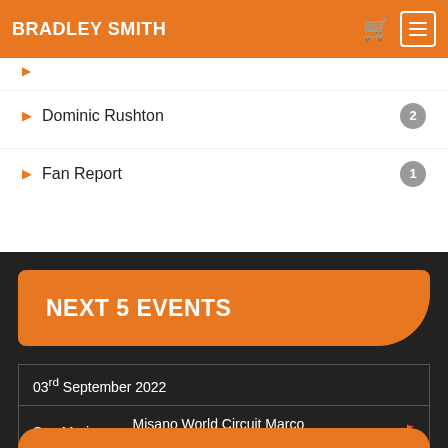BRADLEY SMITH
Dominic Rushton 2
Fan Report 1
NEXT 5 EVENTS
| Date | Location | Circuit |  |
| --- | --- | --- | --- |
| 03rd September 2022 |  |  |  |
| San Marino | Misano World Circuit Marco Simoncelli |  | 🏁 |
| 03rd September 2022 |  |  |  |
| San Marino | Misano World Circuit Marco Simoncelli |  | 🏁 |